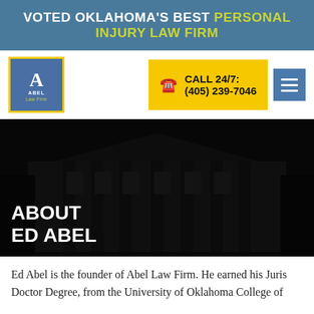VOTED OKLAHOMA'S BEST PERSONAL INJURY LAW FIRM
[Figure (logo): Abel Law Firm logo — blue square with yellow border, letter A and text ABEL Law Firm]
CALL 24/7: (405) 239-7046
[Figure (photo): Dark background photo of a large building/courthouse with the text ABOUT ED ABEL overlaid in bold white]
Ed Abel is the founder of Abel Law Firm. He earned his Juris Doctor Degree, from the University of Oklahoma College of